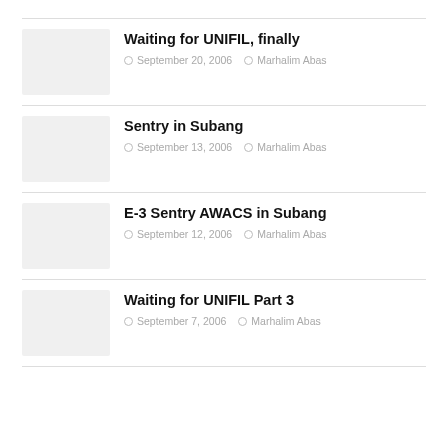Waiting for UNIFIL, finally — September 20, 2006 — Marhalim Abas
Sentry in Subang — September 13, 2006 — Marhalim Abas
E-3 Sentry AWACS in Subang — September 12, 2006 — Marhalim Abas
Waiting for UNIFIL Part 3 — September 7, 2006 — Marhalim Abas